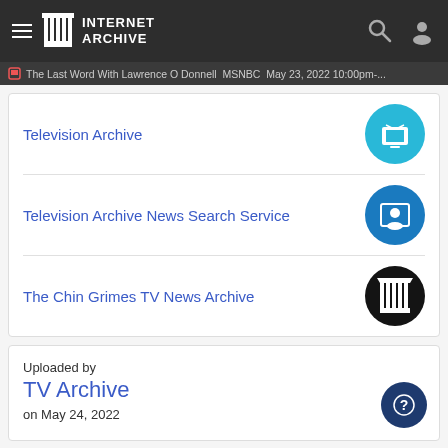INTERNET ARCHIVE
The Last Word With Lawrence O Donnell  MSNBC  May 23, 2022 10:00pm-...
Television Archive
Television Archive News Search Service
The Chin Grimes TV News Archive
Uploaded by
TV Archive
on May 24, 2022